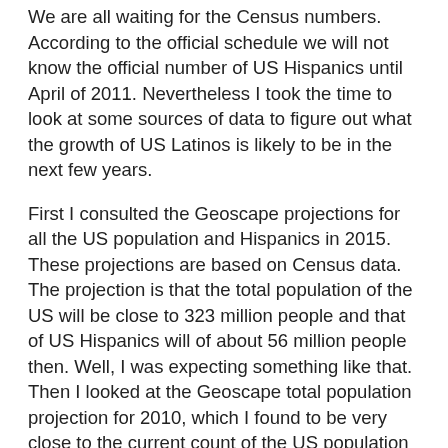We are all waiting for the Census numbers. According to the official schedule we will not know the official number of US Hispanics until April of 2011. Nevertheless I took the time to look at some sources of data to figure out what the growth of US Latinos is likely to be in the next few years.
First I consulted the Geoscape projections for all the US population and Hispanics in 2015. These projections are based on Census data. The projection is that the total population of the US will be close to 323 million people and that of US Hispanics will of about 56 million people then. Well, I was expecting something like that. Then I looked at the Geoscape total population projection for 2010, which I found to be very close to the current count of the US population according to the http://www.census.gov population clock. Both sources said that there are about 310 million people in the US now. I looked at the latest Census data again and found that the US Census Bureau projection for Hispanics in 2009 was 48.4 million. Geoscape projection for 2010 is of close to 50 million people.
I started doing some simple arithmetic and rounded up numbers for simplicity, there are then some 50 millio...